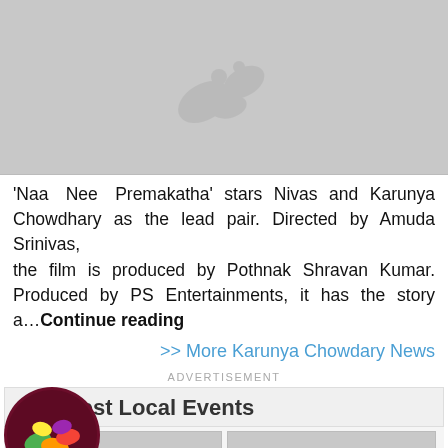[Figure (photo): Gray placeholder image with film strip icon at top]
'Naa Nee Premakatha' stars Nivas and Karunya Chowdhary as the lead pair. Directed by Amuda Srinivas, the film is produced by Pothnak Shravan Kumar. Produced by PS Entertainments, it has the story a...Continue reading
>> More Karunya Chowdary News
ADVERTISEMENT
Latest Local Events
[Figure (photo): Gray placeholder image with film strip icon - event thumbnail left]
[Figure (photo): Gray placeholder image with film strip icon - event thumbnail right]
[Figure (logo): Colorful logo bubble with film/entertainment icon in dark circular background]